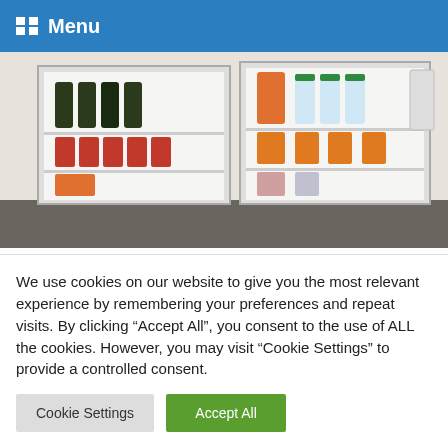Menu
[Figure (photo): Photo of two open mini fridges stocked with beverages including bottles, cans, and juice bottles on a dark countertop]
Best Mini Fridges UK April 2022 – Most Reliable Warranty
Posted on March 25, 2022 by John | No Comments
We use cookies on our website to give you the most relevant experience by remembering your preferences and repeat visits. By clicking "Accept All", you consent to the use of ALL the cookies. However, you may visit "Cookie Settings" to provide a controlled consent.